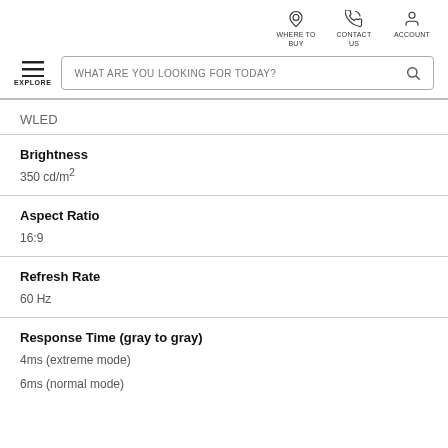WHERE TO BUY   CONTACT US   ACCOUNT
WHAT ARE YOU LOOKING FOR TODAY?
WLED
Brightness
350 cd/m²
Aspect Ratio
16:9
Refresh Rate
60 Hz
Response Time (gray to gray)
4ms (extreme mode)
6ms (normal mode)